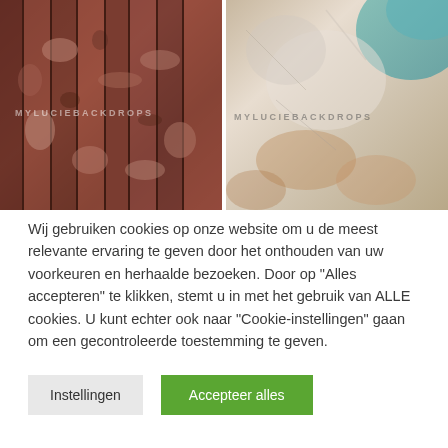[Figure (photo): Weathered red/brown wooden planks with peeling paint, MYLUCIEBACKDROPS watermark overlay]
[Figure (photo): Distressed concrete/plaster wall texture with teal and rust tones, MYLUCIEBACKDROPS watermark overlay]
Wij gebruiken cookies op onze website om u de meest relevante ervaring te geven door het onthouden van uw voorkeuren en herhaalde bezoeken. Door op "Alles accepteren" te klikken, stemt u in met het gebruik van ALLE cookies. U kunt echter ook naar "Cookie-instellingen" gaan om een gecontroleerde toestemming te geven.